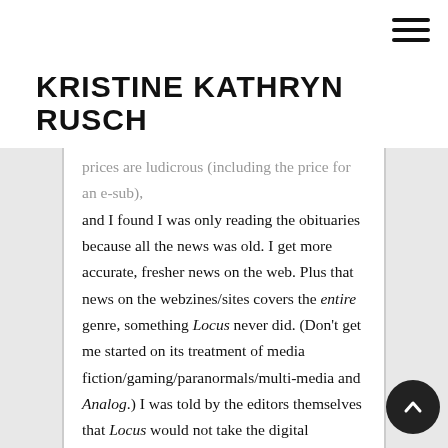KRISTINE KATHRYN RUSCH
prices are ludicrous (including the price for an e-sub), and I found I was only reading the obituaries because all the news was old. I get more accurate, fresher news on the web. Plus that news on the webzines/sites covers the entire genre, something Locus never did. (Don't get me started on its treatment of media fiction/gaming/paranormals/multi-media and Analog.) I was told by the editors themselves that Locus would not take the digital numbers. I do not know why, but I do remember the frustration from my editor friends over this.